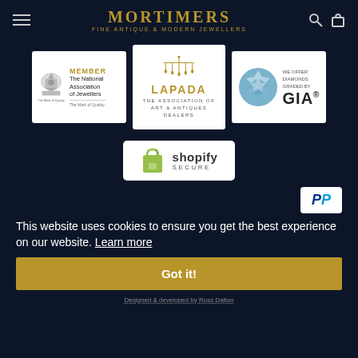MORTIMERS FINE ANTIQUE & MODERN JEWELLERS
[Figure (logo): Member - The National Association of Jewellers badge with crest]
[Figure (logo): LAPADA - The Association of Art & Antiques Dealers badge with chandelier logo]
[Figure (logo): GIA - We offer diamonds graded by GIA badge with diamond image]
[Figure (logo): Shopify Secure badge with green shopping bag icon]
[Figure (logo): PayPal payment badge]
This website uses cookies to ensure you get the best experience on our website. Learn more
Got it!
Designed & developed by Ross Dalton